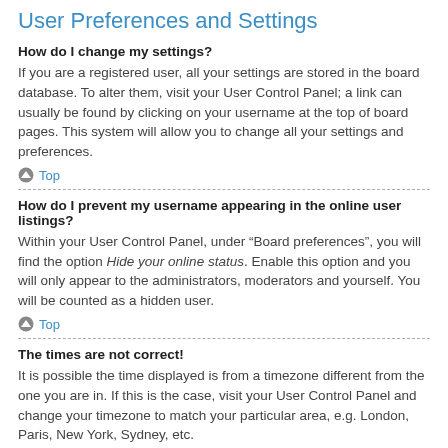User Preferences and Settings
How do I change my settings?
If you are a registered user, all your settings are stored in the board database. To alter them, visit your User Control Panel; a link can usually be found by clicking on your username at the top of board pages. This system will allow you to change all your settings and preferences.
Top
How do I prevent my username appearing in the online user listings?
Within your User Control Panel, under “Board preferences”, you will find the option Hide your online status. Enable this option and you will only appear to the administrators, moderators and yourself. You will be counted as a hidden user.
Top
The times are not correct!
It is possible the time displayed is from a timezone different from the one you are in. If this is the case, visit your User Control Panel and change your timezone to match your particular area, e.g. London, Paris, New York, Sydney, etc.